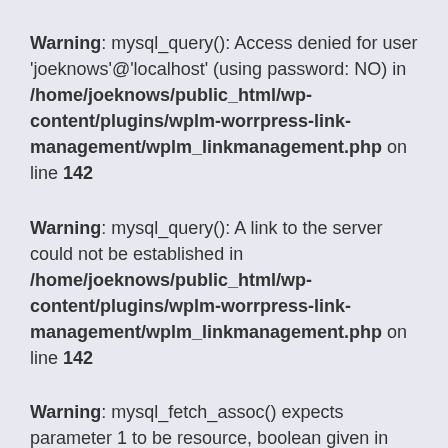Warning: mysql_query(): Access denied for user 'joeknows'@'localhost' (using password: NO) in /home/joeknows/public_html/wp-content/plugins/wplm-worrpress-link-management/wplm_linkmanagement.php on line 142
Warning: mysql_query(): A link to the server could not be established in /home/joeknows/public_html/wp-content/plugins/wplm-worrpress-link-management/wplm_linkmanagement.php on line 142
Warning: mysql_fetch_assoc() expects parameter 1 to be resource, boolean given in /home/joeknows/public_html/wp-content/plugins/wplm-worrpress-link-management/wplm_linkmanagement.php on line 143
HAZE HIM is some hot shit! It's every gay man's hazing fantasy cum true. Supposedly, these videos are made by amateur college boys showing their hazing rituals. I'm not too sure about that, but